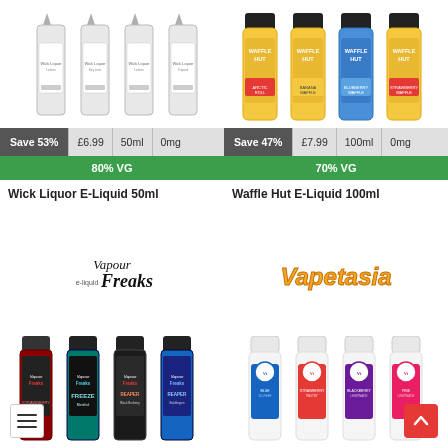[Figure (photo): Four white/grey e-liquid bottles (Wick Liquor brand) with labels, no caps shown]
Save 53%  £6.99  50ml  0mg
80% VG
Wick Liquor E-Liquid 50ml
[Figure (photo): Four Waffle Hut branded e-liquid bottles with colorful labels (Arctic Roll, Banana Waffle, Blueberry Waffle, Strawberry Waffle) with black caps]
Save 47%  £7.99  100ml  0mg
70% VG
Waffle Hut E-Liquid 100ml
[Figure (logo): Vapour Freaks e-liquid script logo in black]
[Figure (photo): Four dark-labeled Vapour Freaks e-liquid bottles with black caps - red, teal, dark, blue varieties]
[Figure (logo): Vapetasia logo in golden/yellow stylized text]
[Figure (photo): Four Vapetasia e-liquid bottles with white caps and blue/pink/black labels]